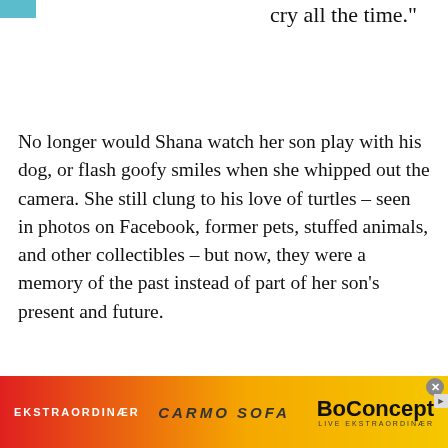cry all the time."
No longer would Shana watch her son play with his dog, or flash goofy smiles when she whipped out the camera. She still clung to his love of turtles – seen in photos on Facebook, former pets, stuffed animals, and other collectibles – but now, they were a memory of the past instead of part of her son's present and future.
[Figure (other): BoConcept advertisement banner with red-to-yellow gradient background. Left: 'EKSTRAORDINÆR' in white bold uppercase. Center: 'CARMO SOFA' in italic bold. Right: 'BoConcept' logo with 'LIVE EKSTRAORDINÆR' tagline.]